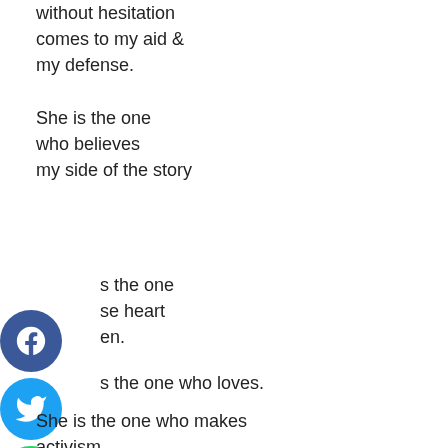without hesitation
comes to my aid &
my defense.
She is the one
who believes
my side of the story
s the one
se heart
en.
s the one who loves.
She is the one who makes
activism
the most compelling
because she is the one
who is irresistible
her own self.